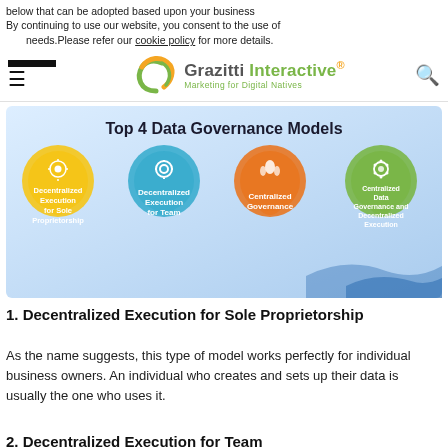below that can be adopted based upon your business needs.
By continuing to use our website, you consent to the use of cookies. Please refer our cookie policy for more details.
Grazitti Interactive — Marketing for Digital Natives
[Figure (infographic): Top 4 Data Governance Models infographic showing four teardrop-shaped icons: Decentralized Execution for Sole Proprietorship (yellow), Decentralized Execution for Team (blue), Centralized Governance (orange), Centralized Data Governance and Decentralized Execution (green)]
1. Decentralized Execution for Sole Proprietorship
As the name suggests, this type of model works perfectly for individual business owners. An individual who creates and sets up their data is usually the one who uses it.
2. Decentralized Execution for Team